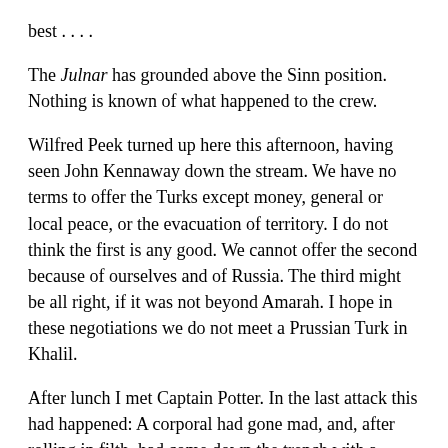best . . . .
The Julnar has grounded above the Sinn position. Nothing is known of what happened to the crew.
Wilfred Peek turned up here this afternoon, having seen John Kennaway down the stream. We have no terms to offer the Turks except money, general or local peace, or the evacuation of territory. I do not think the first is any good. We cannot offer the second because of ourselves and of Russia. The third might be all right, if it was not beyond Amarah. I hope in these negotiations we do not meet a Prussian Turk in Khalil.
After lunch I met Captain Potter. In the last attack this had happened: A corporal had gone mad, and, after rolling in filth, had come down the trench with a bomb in each hand, shouting out that he was looking for the ---- Arabs. The parapet was low, about shoulder high, and there was a good deal of shrapnel and bullets coming in. The corporal threw the bomb into the middle of the officers' mess, killing one and wounding the Colonel, knocking Potter and the others